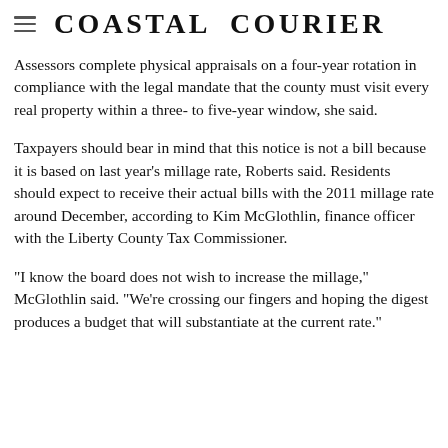Coastal Courier
Assessors complete physical appraisals on a four-year rotation in compliance with the legal mandate that the county must visit every real property within a three- to five-year window, she said.
Taxpayers should bear in mind that this notice is not a bill because it is based on last year's millage rate, Roberts said. Residents should expect to receive their actual bills with the 2011 millage rate around December, according to Kim McGlothlin, finance officer with the Liberty County Tax Commissioner.
“I know the board does not wish to increase the millage,” McGlothlin said. “We’re crossing our fingers and hoping the digest produces a budget that will substantiate at the current rate.